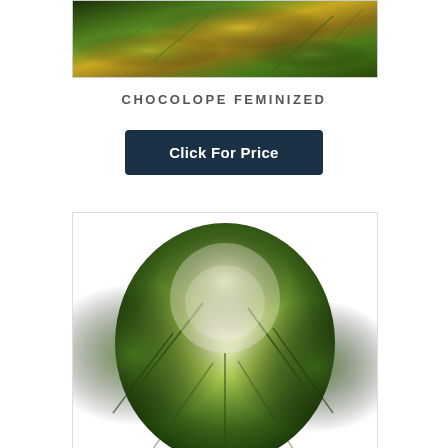[Figure (photo): Close-up photo of cannabis plant with buds and green leaves, cropped at top]
CHOCOLOPE FEMINIZED
Click For Price
[Figure (photo): Close-up photo of a large cannabis bud covered in trichomes against a white background]